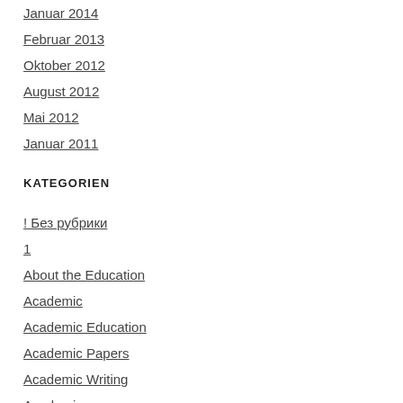Januar 2014
Februar 2013
Oktober 2012
August 2012
Mai 2012
Januar 2011
KATEGORIEN
! Без рубрики
1
About the Education
Academic
Academic Education
Academic Papers
Academic Writing
Academics
Admission essay